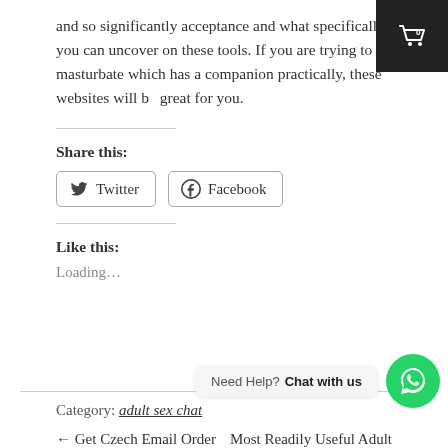and so significantly acceptance and what specifically you can uncover on these tools. If you are trying to masturbate which has a companion practically, these websites will be great for you.
Share this:
[Figure (other): Twitter and Facebook share buttons]
Like this:
Loading...
Category: adult sex chat
[Figure (other): WhatsApp chat widget with 'Need Help? Chat with us' bubble and green WhatsApp circle button]
← Get Czech Email Order    Most Readily Useful Adult